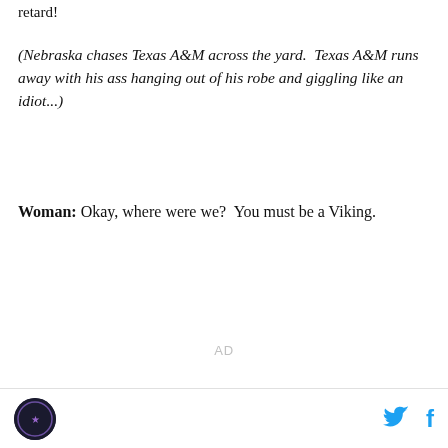retard!
(Nebraska chases Texas A&M across the yard.  Texas A&M runs away with his ass hanging out of his robe and giggling like an idiot...)
Woman: Okay, where were we?  You must be a Viking.
AD
[logo] [twitter] [facebook]